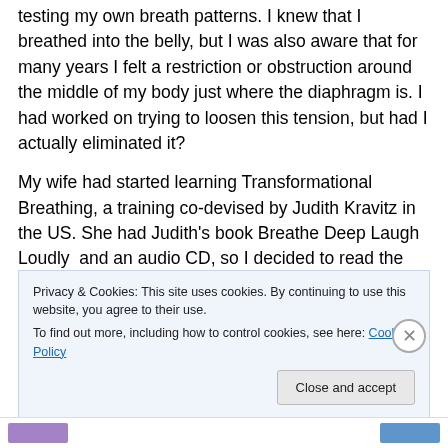testing my own breath patterns. I knew that I breathed into the belly, but I was also aware that for many years I felt a restriction or obstruction around the middle of my body just where the diaphragm is. I had worked on trying to loosen this tension, but had I actually eliminated it?
My wife had started learning Transformational Breathing, a training co-devised by Judith Kravitz in the US. She had Judith's book Breathe Deep Laugh Loudly and an audio CD, so I decided to read the book and do the exercises, without a teacher (having a teacher would have been
Privacy & Cookies: This site uses cookies. By continuing to use this website, you agree to their use.
To find out more, including how to control cookies, see here: Cookie Policy
Close and accept